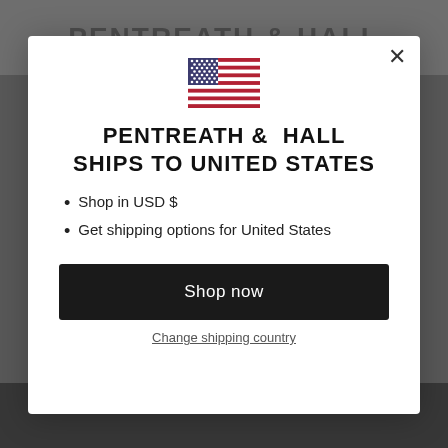PENTREATH & HALL
[Figure (illustration): US flag emoji/icon]
PENTREATH & HALL SHIPS TO UNITED STATES
Shop in USD $
Get shipping options for United States
Shop now
Change shipping country